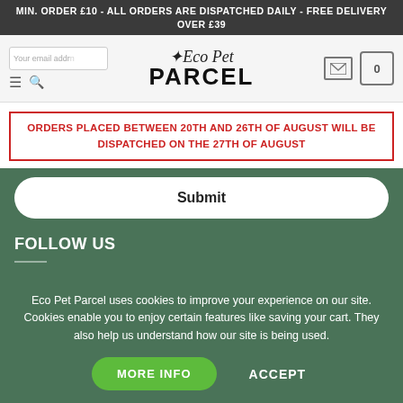MIN. ORDER £10 - ALL ORDERS ARE DISPATCHED DAILY - FREE DELIVERY OVER £39
[Figure (logo): Eco Pet Parcel logo with stylized italic script top and bold uppercase PARCEL text below, with leaf icon]
ORDERS PLACED BETWEEN 20TH AND 26TH OF AUGUST WILL BE DISPATCHED ON THE 27TH OF AUGUST
Submit
FOLLOW US
Eco Pet Parcel uses cookies to improve your experience on our site. Cookies enable you to enjoy certain features like saving your cart. They also help us understand how our site is being used.
MORE INFO
ACCEPT